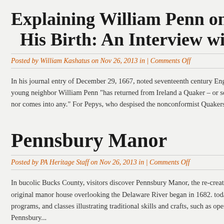Explaining William Penn on the 3[00th Anniversary of] His Birth: An Interview with Richa[rd S. Dunn]
Posted by William Kashatus on Nov 26, 2013 in | Comments Off
In his journal entry of December 29, 1667, noted seventeenth century English... young neighbor William Penn "has returned from Ireland a Quaker – or some... nor comes into any." For Pepys, who despised the nonconformist Quakers, Pe...
Pennsbury Manor
Posted by PA Heritage Staff on Nov 26, 2013 in | Comments Off
In bucolic Bucks County, visitors discover Pennsbury Manor, the re-created co... original manor house overlooking the Delaware River began in 1682. today, T... programs, and classes illustrating traditional skills and crafts, such as open hea... Pennsbury...